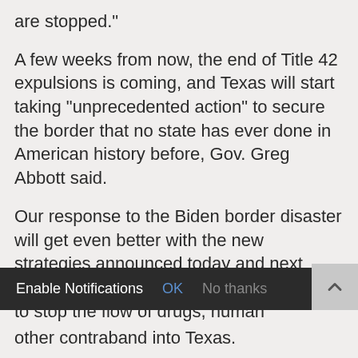are stopped."
A few weeks from now, the end of Title 42 expulsions is coming, and Texas will start taking "unprecedented action" to secure the border that no state has ever done in American history before, Gov. Greg Abbott said.
Our response to the Biden border disaster will get even better with the new strategies announced today and next week. We will use all of our legal powers to stop the flow of drugs, human other contraband into Texas.